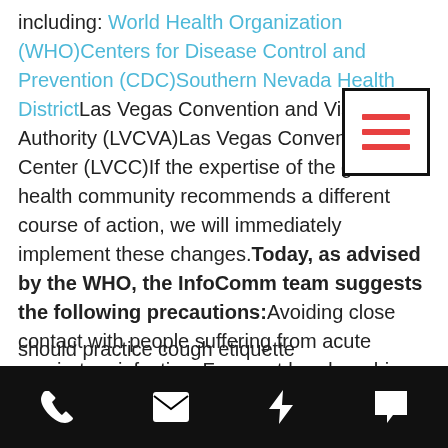including: World Health Organization (WHO)Centers for Disease Control and Prevention (CDC)Southern Nevada Health DistrictLas Vegas Convention and Visitors Authority (LVCVA)Las Vegas Convention Center (LVCC)If the expertise of the global health community recommends a different course of action, we will immediately implement these changes. Today, as advised by the WHO, the InfoComm team suggests the following precautions: Avoiding close contact with people suffering from acute respiratory infectionsFrequent hand washing, especially after direct contact with ill
[Figure (screenshot): Mobile navigation hamburger menu icon (three horizontal red lines) inside a black bordered white square box overlaid on the text]
should practice cough etiquette